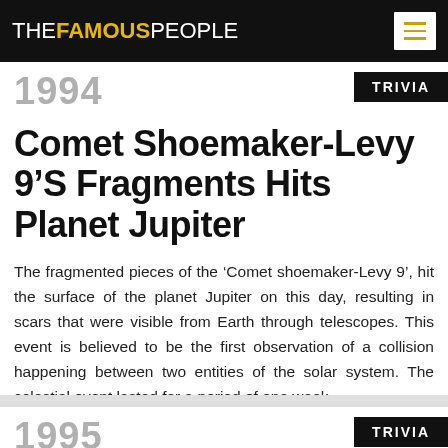THE FAMOUS PEOPLE
1994
Comet Shoemaker-Levy 9’S Fragments Hits Planet Jupiter
The fragmented pieces of the ‘Comet shoemaker-Levy 9’, hit the surface of the planet Jupiter on this day, resulting in scars that were visible from Earth through telescopes. This event is believed to be the first observation of a collision happening between two entities of the solar system. The celestial event lasted for a period of one week.
1995